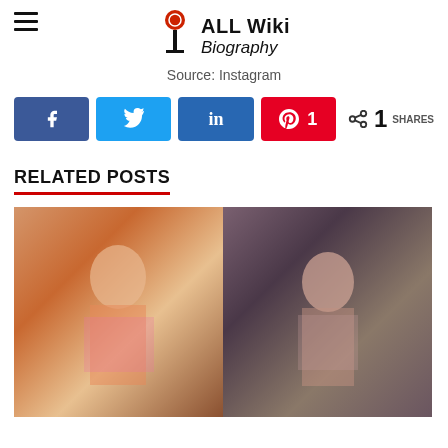ALL Wiki Biography
Source: Instagram
Share buttons: Facebook, Twitter, LinkedIn, Pinterest (1 share), < 1 SHARES
RELATED POSTS
[Figure (photo): Two women photographed side by side: left woman in pink saree, right woman in pink top with long hair and jewelry]